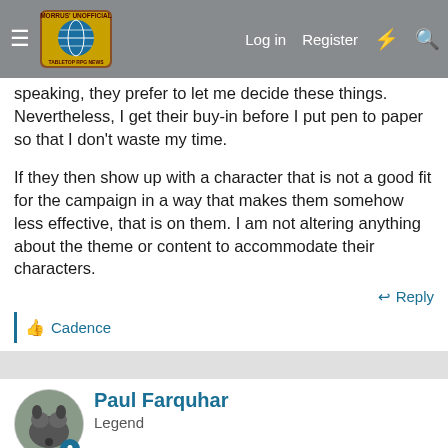Morrus' Unofficial Tabletop RPG News — Log in | Register
speaking, they prefer to let me decide these things. Nevertheless, I get their buy-in before I put pen to paper so that I don't waste my time.
If they then show up with a character that is not a good fit for the campaign in a way that makes them somehow less effective, that is on them. I am not altering anything about the theme or content to accommodate their characters.
Reply
Cadence
Paul Farquhar
Legend